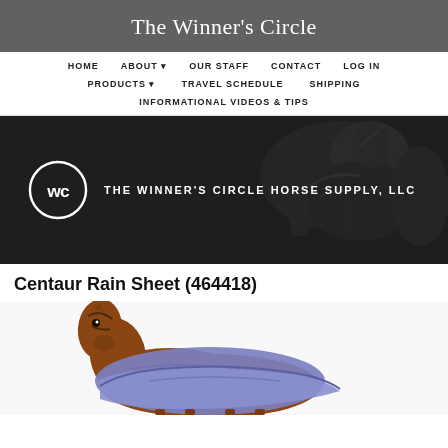The Winner's Circle
HOME
ABOUT ▼
OUR STAFF
CONTACT
LOG IN
PRODUCTS ▼
TRAVEL SCHEDULE
SHIPPING
INFORMATIONAL VIDEOS & TIPS
[Figure (logo): Hero banner with dark background showing a horse and rider silhouette; WC circle logo on left with text THE WINNER'S CIRCLE HORSE SUPPLY, LLC]
Centaur Rain Sheet (464418)
[Figure (photo): A brown horse wearing a purple/blue rain sheet, shown from the front/side against a white background]